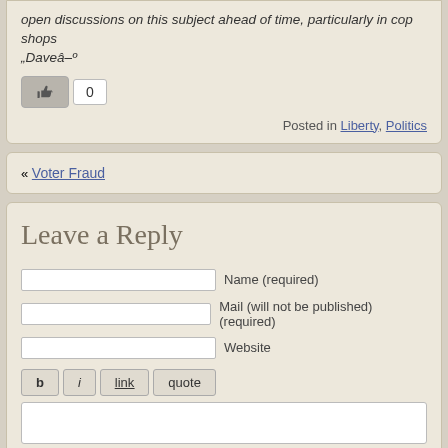open discussions on this subject ahead of time, particularly in cop shops „Daveâ–º
[Figure (other): Like/thumbs-up button with count badge showing 0]
Posted in Liberty, Politics
« Voter Fraud
Leave a Reply
Name (required)
Mail (will not be published) (required)
Website
b  i  link  quote